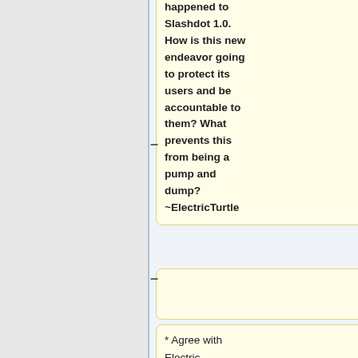happened to Slashdot 1.0. How is this new endeavor going to protect its users and be accountable to them? What prevents this from being a pump and dump? ~ElectricTurtle
* Agree with Electric... Primary purpose of any fund should be to cover operating costs,